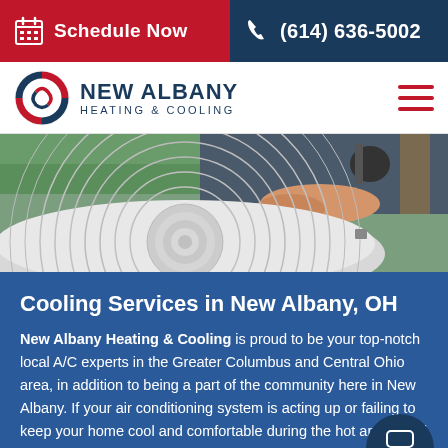Schedule Now | (614) 636-5002
[Figure (logo): New Albany Heating & Cooling logo with circular red and blue swirl emblem]
[Figure (photo): HVAC technician working on an air conditioning unit outdoors]
Cooling Services in New Albany, OH
New Albany Heating & Cooling is proud to be your top-notch local A/C experts in the Greater Columbus and Central Ohio area, in addition to being a part of the community here in New Albany. If your air conditioning system is acting up or failing to keep your home cool and comfortable during the hot and humid months of summer, we strongly suggest you don't allow the problem to get worse.